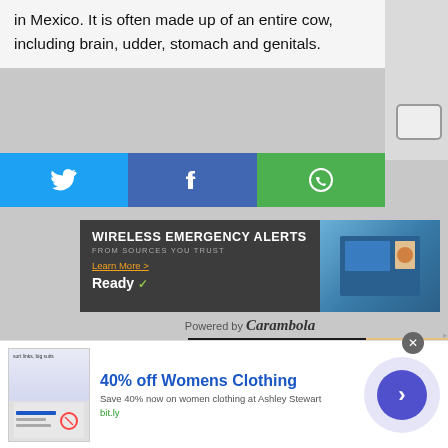in Mexico. It is often made up of an entire cow, including brain, udder, stomach and genitals.
[Figure (screenshot): Social share buttons: Twitter (blue), Facebook (dark blue), WhatsApp (green)]
[Figure (screenshot): Wireless Emergency Alerts banner ad - FROM SOURCES YOU TRUST - Learn More - Ready]
Powered by Carambola
[Figure (screenshot): Video player overlay showing a dark circular object with play/pause controls and food imagery on the right side]
| Home | Top | About Us | N
| Do Not Sell My Personal Informa
© Copyright 2022
[Figure (screenshot): Bottom advertisement: 40% off Womens Clothing - Save 40% now on women clothing at Ashley Stewart - bit.ly - with arrow button]
40% off Womens Clothing
Save 40% now on women clothing at Ashley Stewart
bit.ly